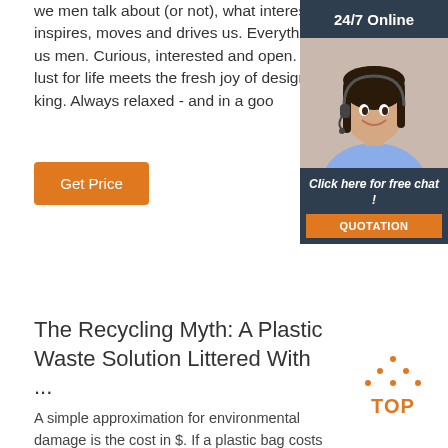we men talk about (or not), what interests us, what inspires, moves and drives us. Everything that makes us men. Curious, interested and open. The intense lust for life meets the fresh joy of designing and making. Always relaxed - and in a goo
[Figure (illustration): 24/7 Online chat widget with a woman wearing a headset, dark header with '24/7 Online', orange QUOTATION button, 'Click here for free chat!' text]
Get Price
The Recycling Myth: A Plastic Waste Solution Littered With ...
A simple approximation for environmental damage is the cost in $. If a plastic bag costs 1c, and a jute
[Figure (logo): TOP button with orange dotted triangle above and orange TOP text]